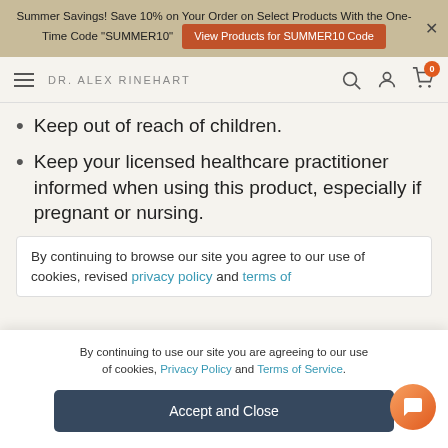Summer Savings! Save 10% on Your Order on Select Products With the One-Time Code "SUMMER10" | View Products for SUMMER10 Code
DR. ALEX RINEHART
Keep out of reach of children.
Keep your licensed healthcare practitioner informed when using this product, especially if pregnant or nursing.
By continuing to browse our site you agree to our use of cookies, revised privacy policy and terms of
By continuing to use our site you are agreeing to our use of cookies, Privacy Policy and Terms of Service.
Accept and Close